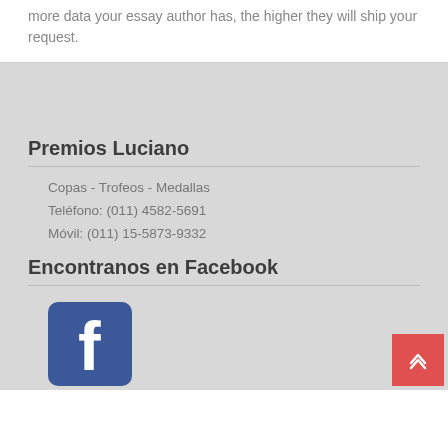more data your essay author has, the higher they will ship your request.
Premios Luciano
Copas - Trofeos - Medallas
Teléfono: (011) 4582-5691
Móvil: (011) 15-5873-9332
Encontranos en Facebook
[Figure (logo): Facebook logo icon — blue rounded square with white lowercase 'f']